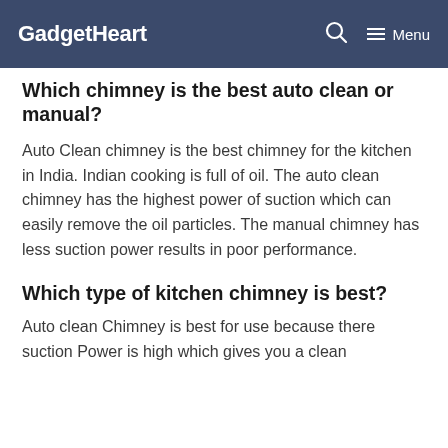GadgetHeart
Which chimney is the best auto clean or manual?
Auto Clean chimney is the best chimney for the kitchen in India. Indian cooking is full of oil. The auto clean chimney has the highest power of suction which can easily remove the oil particles. The manual chimney has less suction power results in poor performance.
Which type of kitchen chimney is best?
Auto clean Chimney is best for use because there suction Power is high which gives you a clean